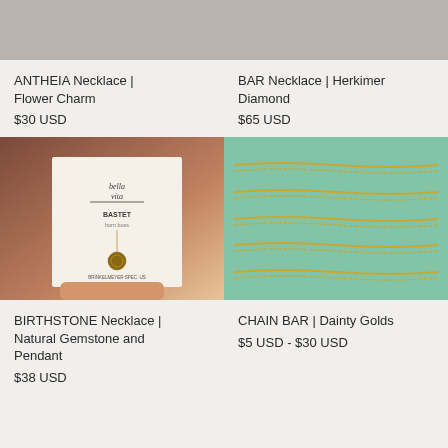[Figure (photo): Partial product image of ANTHEIA Necklace Flower Charm (top, cropped)]
ANTHEIA Necklace | Flower Charm
$30 USD
[Figure (photo): Partial product image of BAR Necklace Herkimer Diamond (top, cropped)]
BAR Necklace | Herkimer Diamond
$65 USD
[Figure (photo): Woman holding a Bella Vita branded card with a BIRTHSTONE Necklace pendant]
BIRTHSTONE Necklace | Natural Gemstone and Pendant
$38 USD
[Figure (photo): Gold chain necklaces displayed on a teal/mint green fabric background]
CHAIN BAR | Dainty Golds
$5 USD - $30 USD